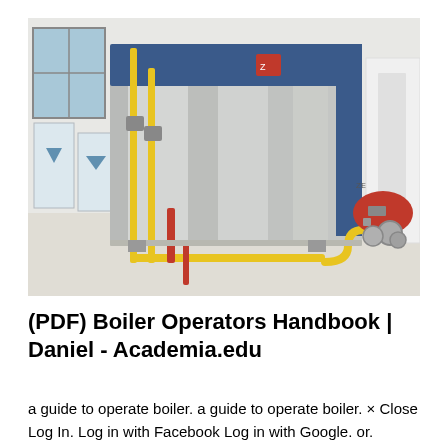[Figure (photo): Photograph of an industrial boiler unit in a facility. The boiler is a large rectangular machine with a silver/metallic exterior and blue top section. A red burner/combustion head is attached to the right side. Yellow gas pipes run along the floor and up vertical supports on the left. White cylindrical tanks are visible in the background on the left. The facility has white walls and a light-colored floor.]
(PDF) Boiler Operators Handbook | Daniel - Academia.edu
a guide to operate boiler. a guide to operate boiler. × Close Log In. Log in with Facebook Log in with Google. or. Email.